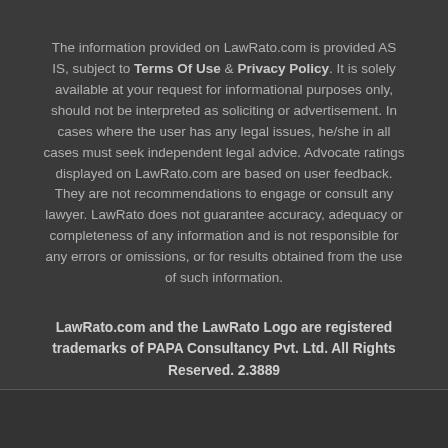The information provided on LawRato.com is provided AS IS, subject to Terms Of Use & Privacy Policy. It is solely available at your request for informational purposes only, should not be interpreted as soliciting or advertisement. In cases where the user has any legal issues, he/she in all cases must seek independent legal advice. Advocate ratings displayed on LawRato.com are based on user feedback. They are not recommendations to engage or consult any lawyer. LawRato does not guarantee accuracy, adequacy or completeness of any information and is not responsible for any errors or omissions, or for results obtained from the use of such information.
LawRato.com and the LawRato Logo are registered trademarks of PAPA Consultancy Pvt. Ltd. All Rights Reserved. 2.3889